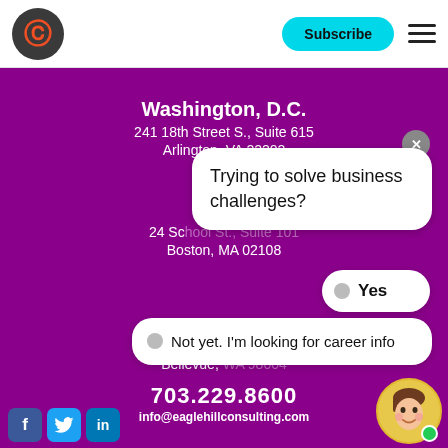[Figure (logo): Eagle Hill Consulting logo - dark circle with orange letter C/G inside, Subscribe button in teal, hamburger menu icon]
Washington, D.C.
241 18th Street S., Suite 615
Arlington, VA 22202
24 Sc...
Boston, MA 02108
1040...
Bellevue, WA ...
703.229.8600
info@eaglehillconsulting.com
[Figure (screenshot): Chatbot popup with close X button, question bubble 'Trying to solve business challenges?', Yes option bubble, 'Not yet. I'm looking for career info' option bubble, and chatbot avatar at bottom right]